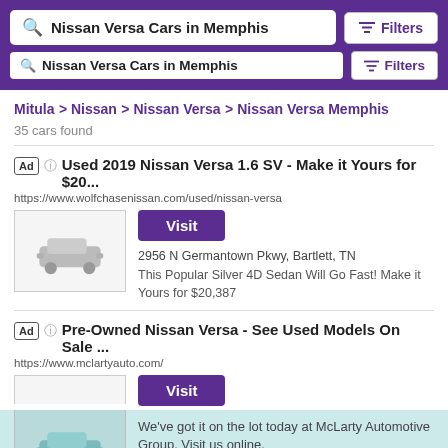Nissan Versa Cars in Memphis | Filters
Nissan Versa Cars in Memphis | Filters
Mitula > Nissan > Nissan Versa > Nissan Versa Memphis
35 cars found
Ad | Used 2019 Nissan Versa 1.6 SV - Make it Yours for $20...
https://www.wolfchasenissan.com/used/nissan-versa
[Visit]
2956 N Germantown Pkwy, Bartlett, TN
This Popular Silver 4D Sedan Will Go Fast! Make it Yours for $20,387
Ad | Pre-Owned Nissan Versa - See Used Models On Sale ...
https://www.mclartyauto.com/
[Visit]
We've got it on the lot today at McLarty Automotive Group. Visit us online.